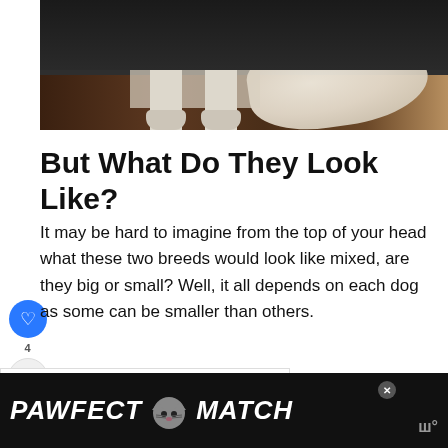[Figure (photo): Dog's legs and paws standing on a dark wooden floor next to a torn piece of tissue or paper]
But What Do They Look Like?
It may be hard to imagine from the top of your head what these two breeds would look like mixed, are they big or small? Well, it all depends on each dog as some can be smaller than others.
[Figure (infographic): What's Next widget showing Australian Shepherd... with a dog logo illustration]
[Figure (infographic): PAWFECT MATCH advertisement banner with cat face illustration on dark background]